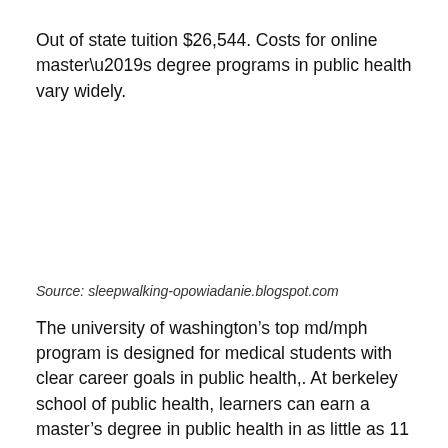Out of state tuition $26,544. Costs for online master’s degree programs in public health vary widely.
Source: sleepwalking-opowiadanie.blogspot.com
The university of washington’s top md/mph program is designed for medical students with clear career goals in public health,. At berkeley school of public health, learners can earn a master’s degree in public health in as little as 11 months, depending on the.